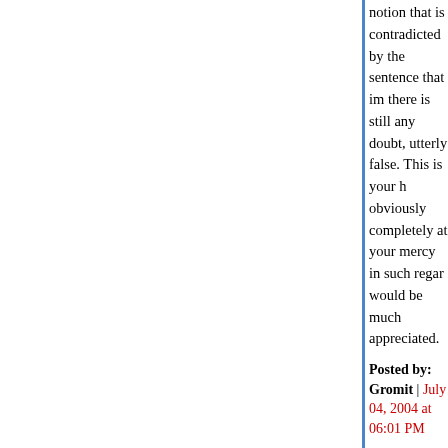notion that is contradicted by the sentence that im there is still any doubt, utterly false. This is your h obviously completely at your mercy in such regar would be much appreciated.
Posted by: Gromit | July 04, 2004 at 06:01 PM
Your opinion has been read and noted, Jesurgisla was entirely convinced that the intent was not to a apologize for my response; while I am not so con so I suppose that I should give the benefit of the d
Therefore, my apologies. Rest assured, future qu to be representative and properly evocative of the
Moe
Posted by: Moe Lane | July 04, 2004 at 08:27 PM
I wonder if, say, any random person with an "R" a much leeway by certain people for even uttering t context where it was clear that that was where the is getting here for using words that carry just as m